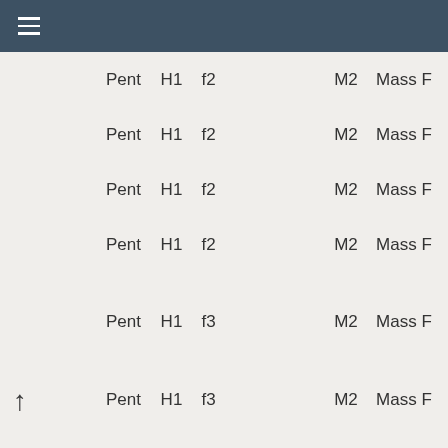≡
| Pent | H1 | f | M2 | Mass F |
| --- | --- | --- | --- | --- |
| Pent | H1 | f2 |  | M2 | Mass F |
| Pent | H1 | f2 |  | M2 | Mass F |
| Pent | H1 | f2 |  | M2 | Mass F |
| Pent | H1 | f2 |  | M2 | Mass F |
| Pent | H1 | f3 |  | M2 | Mass F |
| Pent | H1 | f3 |  | M2 | Mass F |